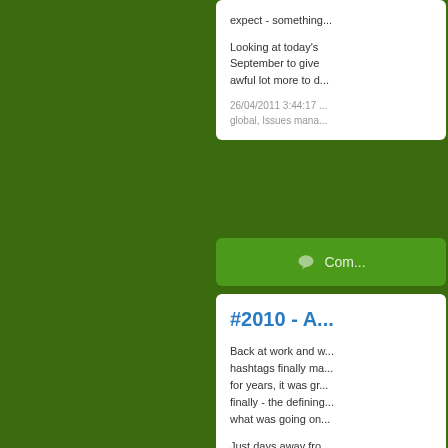expect - something...
Looking at today's September to give awful lot more to d...
26/04/2011 3:44:17 global, Issues mana...
Com...
#2010 - A...
Back at work and w... hashtags finally ma... for years, it was gr... finally - the defining... what was going on...
Just days away fro... for me anyway, sig...